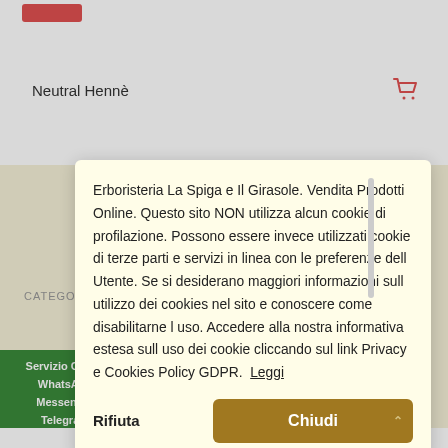Neutral Hennè
Erboristeria La Spiga e Il Girasole. Vendita Prodotti Online. Questo sito NON utilizza alcun cookie di profilazione. Possono essere invece utilizzati cookie di terze parti e servizi in linea con le preferenze dell Utente. Se si desiderano maggiori informazioni sull utilizzo dei cookies nel sito e conoscere come disabilitarne l uso. Accedere alla nostra informativa estesa sull uso dei cookie cliccando sul link Privacy e Cookies Policy GDPR. Leggi
Rifiuta
Chiudi